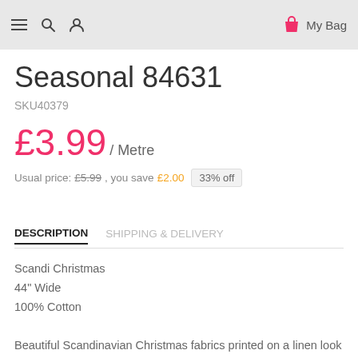≡  🔍  👤   My Bag
Seasonal 84631
SKU40379
£3.99 / Metre
Usual price: £5.99 , you save £2.00  33% off
DESCRIPTION   SHIPPING & DELIVERY
Scandi Christmas
44" Wide
100% Cotton

Beautiful Scandinavian Christmas fabrics printed on a linen look